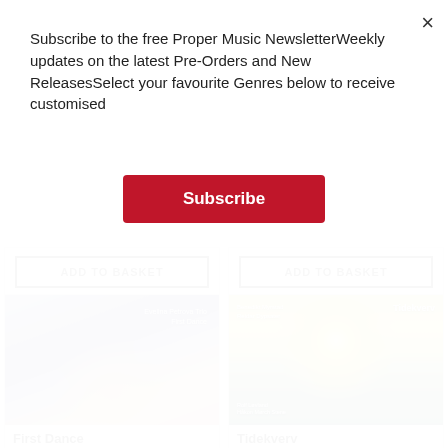Subscribe to the free Proper Music NewsletterWeekly updates on the latest Pre-Orders and New ReleasesSelect your favourite Genres below to receive customised
Subscribe
[Figure (illustration): Album cover for 'First Dance' by Evelina Petrova Trio — abstract purple-blue painting with golden figure]
[Figure (illustration): Album cover for 'Tidekverv' — sun painting in style of Edvard Munch, rays of light over water and landscape]
First Dance
Tidekverv